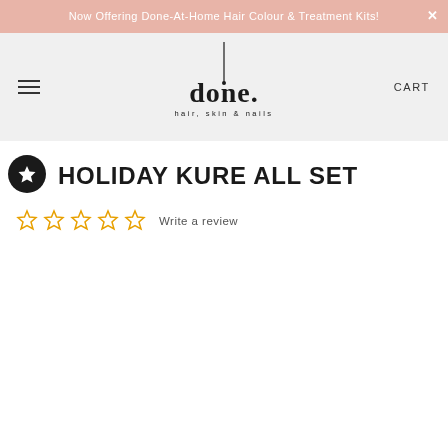Now Offering Done-At-Home Hair Colour & Treatment Kits!
[Figure (logo): Done. hair, skin & nails logo with stylized scissor/needle above lettering]
HOLIDAY KURE ALL SET
Write a review